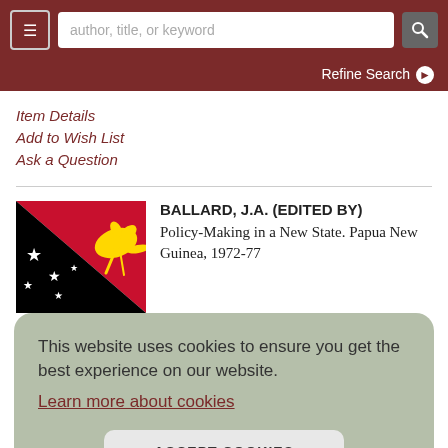author, title, or keyword | Refine Search
Item Details
Add to Wish List
Ask a Question
BALLARD, J.A. (EDITED BY)
Policy-Making in a New State. Papua New Guinea, 1972-77
This website uses cookies to ensure you get the best experience on our website.
Learn more about cookies
ACCEPT COOKIES